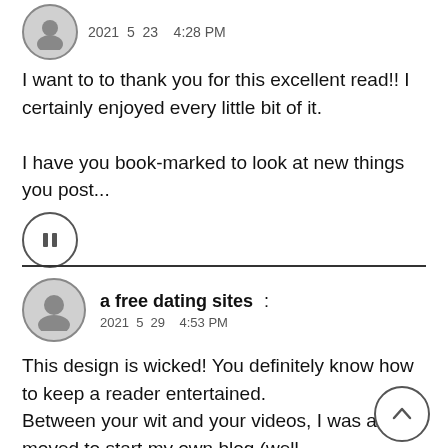[Figure (other): User avatar circle (top comment), partially visible at top]
2021  5  23    4:28 PM
I want to to thank you for this excellent read!! I certainly enjoyed every little bit of it.
I have you book-marked to look at new things you post...
[Figure (other): Pause button icon inside a circle]
a free dating sites   :
2021  5  29   4:53 PM
This design is wicked! You definitely know how to keep a reader entertained.
Between your wit and your videos, I was almost moved to start my own blog (well, almost...HaHa!) Fantastic job. I really loved what you had to say, and more than that, how you presented it. Too cool!